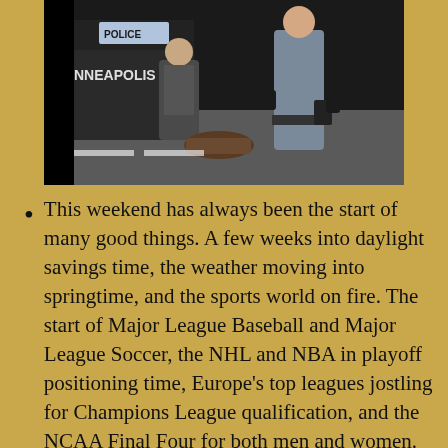[Figure (photo): A screenshot from a video showing Minneapolis police officers and a person on the ground near a police vehicle. The word 'MINNEAPOLIS' is partially visible on the vehicle door.]
This weekend has always been the start of many good things. A few weeks into daylight savings time, the weather moving into springtime, and the sports world on fire. The start of Major League Baseball and Major League Soccer, the NHL and NBA in playoff positioning time, Europe's top leagues jostling for Champions League qualification, and the NCAA Final Four for both men and women. Tuesday starts the CONCACAF